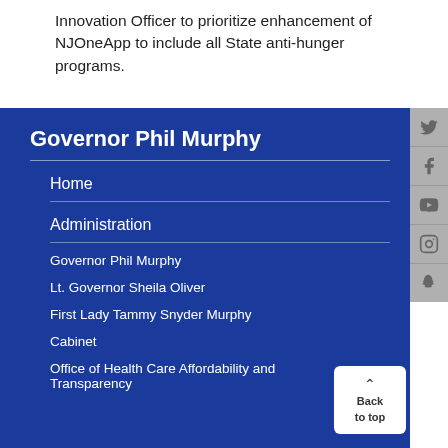Innovation Officer to prioritize enhancement of NJOneApp to include all State anti-hunger programs.
Governor Phil Murphy
Home
Administration
Governor Phil Murphy
Lt. Governor Sheila Oliver
First Lady Tammy Snyder Murphy
Cabinet
Office of Health Care Affordability and Transparency